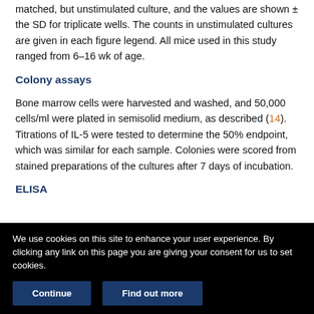matched, but unstimulated culture, and the values are shown ± the SD for triplicate wells. The counts in unstimulated cultures are given in each figure legend. All mice used in this study ranged from 6–16 wk of age.
Colony assays
Bone marrow cells were harvested and washed, and 50,000 cells/ml were plated in semisolid medium, as described (14). Titrations of IL-5 were tested to determine the 50% endpoint, which was similar for each sample. Colonies were scored from stained preparations of the cultures after 7 days of incubation.
ELISA
We use cookies on this site to enhance your user experience. By clicking any link on this page you are giving your consent for us to set cookies.